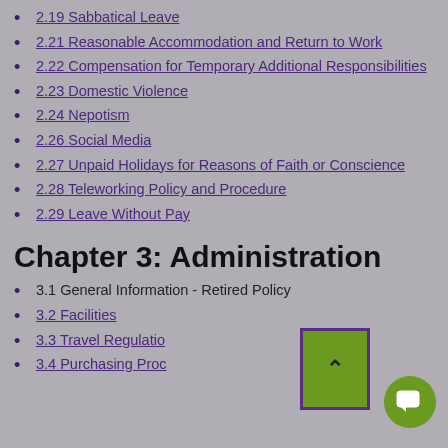2.19 Sabbatical Leave
2.21 Reasonable Accommodation and Return to Work
2.22 Compensation for Temporary Additional Responsibilities
2.23 Domestic Violence
2.24 Nepotism
2.26 Social Media
2.27 Unpaid Holidays for Reasons of Faith or Conscience
2.28 Teleworking Policy and Procedure
2.29 Leave Without Pay
Chapter 3: Administration
3.1 General Information - Retired Policy
3.2 Facilities
3.3 Travel Regulations
3.4 Purchasing Procedures